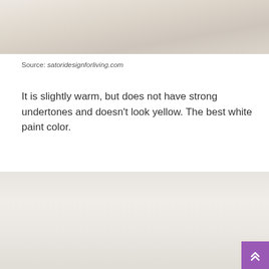[Figure (photo): Top portion of a room interior showing a light wood or light-colored floor surface with pale warm tones, partially cropped at top of page.]
Source: satoridesignforliving.com
It is slightly warm, but does not have strong undertones and doesn’t look yellow. The best white paint color.
[Figure (photo): Interior room photo showing white painted cabinets and trim with crown molding, a mirror, and wall sconces. Warm white paint on walls and cabinetry.]